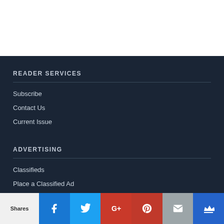READER SERVICES
Subscribe
Contact Us
Current Issue
ADVERTISING
Classifieds
Place a Classified Ad
Shares